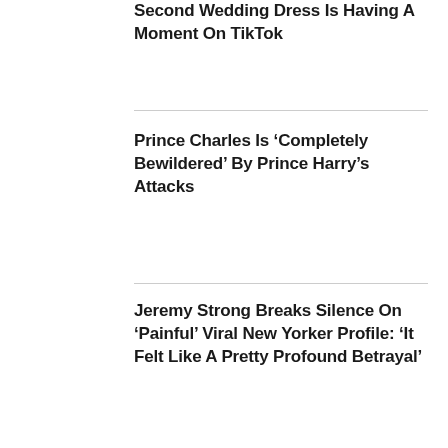Second Wedding Dress Is Having A Moment On TikTok
Prince Charles Is ‘Completely Bewildered’ By Prince Harry’s Attacks
Jeremy Strong Breaks Silence On ‘Painful’ Viral New Yorker Profile: ‘It Felt Like A Pretty Profound Betrayal’
Courtney Stodden: Bethenny Frankel’s Kardashian Comments ‘Opened Up A Wound’